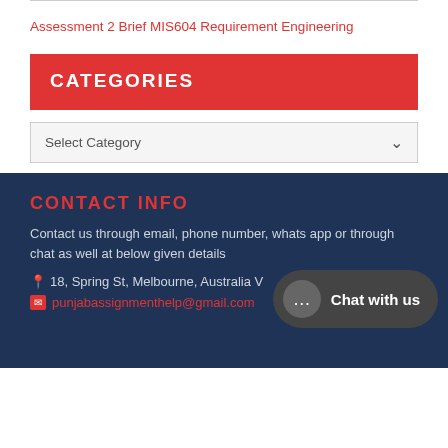Assessment 2 Brief MIS604 Requirement Engineering
CATEGORIES
Select Category
CONTACT INFO
Contact us through email, phone number, whats app or through chat as well at below given details
18, Spring St, Melbourne, Australia V
punjabassignmenthelp@gmail.com